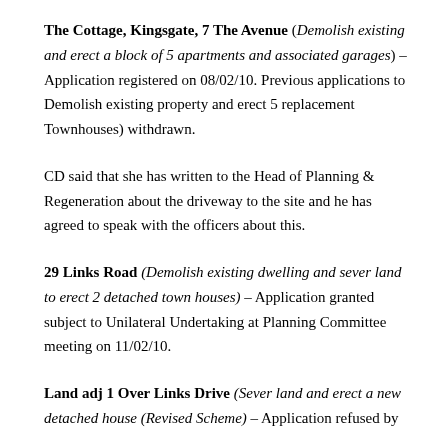The Cottage, Kingsgate, 7 The Avenue (Demolish existing and erect a block of 5 apartments and associated garages) – Application registered on 08/02/10. Previous applications to Demolish existing property and erect 5 replacement Townhouses) withdrawn.
CD said that she has written to the Head of Planning & Regeneration about the driveway to the site and he has agreed to speak with the officers about this.
29 Links Road (Demolish existing dwelling and sever land to erect 2 detached town houses) – Application granted subject to Unilateral Undertaking at Planning Committee meeting on 11/02/10.
Land adj 1 Over Links Drive (Sever land and erect a new detached house (Revised Scheme) – Application refused by...